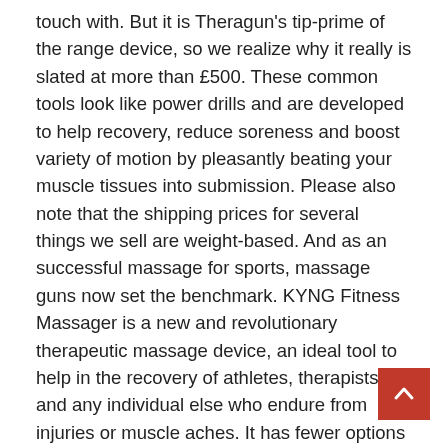touch with. But it is Theragun's tip-prime of the range device, so we realize why it really is slated at more than £500. These common tools look like power drills and are developed to help recovery, reduce soreness and boost variety of motion by pleasantly beating your muscle tissues into submission. Please also note that the shipping prices for several things we sell are weight-based. And as an successful massage for sports, massage guns now set the benchmark. KYNG Fitness Massager is a new and revolutionary therapeutic massage device, an ideal tool to help in the recovery of athletes, therapists, and any individual else who endure from injuries or muscle aches. It has fewer options than other guns and performs for significantly less time, but that comes down to